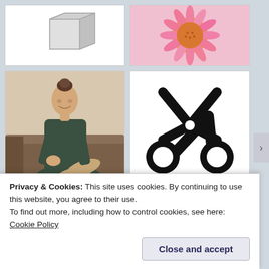[Figure (illustration): 3D box wireframe illustration on white background]
[Figure (photo): Close-up photo of a pink flower (echinacea/coneflower)]
[Figure (photo): Photo of a young woman sitting on a couch wearing a dark dress, smiling]
[Figure (illustration): Black scissors icon on white background]
[Figure (photo): Close-up photo of a bald man holding a white cup near his face]
[Figure (other): Broken/missing image placeholder with small icon]
Privacy & Cookies: This site uses cookies. By continuing to use this website, you agree to their use.
To find out more, including how to control cookies, see here: Cookie Policy
Close and accept